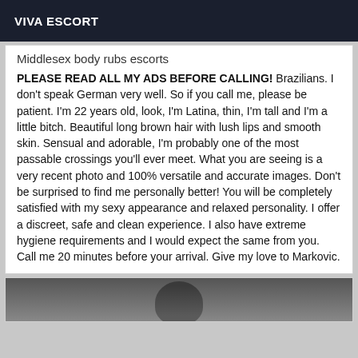VIVA ESCORT
Middlesex body rubs escorts
PLEASE READ ALL MY ADS BEFORE CALLING! Brazilians. I don't speak German very well. So if you call me, please be patient. I'm 22 years old, look, I'm Latina, thin, I'm tall and I'm a little bitch. Beautiful long brown hair with lush lips and smooth skin. Sensual and adorable, I'm probably one of the most passable crossings you'll ever meet. What you are seeing is a very recent photo and 100% versatile and accurate images. Don't be surprised to find me personally better! You will be completely satisfied with my sexy appearance and relaxed personality. I offer a discreet, safe and clean experience. I also have extreme hygiene requirements and I would expect the same from you. Call me 20 minutes before your arrival. Give my love to Markovic.
[Figure (photo): Partial photo of a person, mostly dark/shadowed, visible at bottom of page]